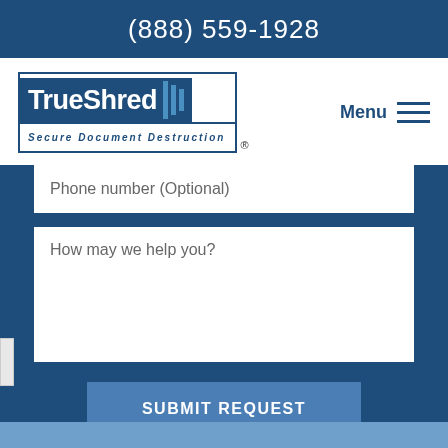(888) 559-1928
[Figure (logo): TrueShred Secure Document Destruction logo with blue box and vertical lines]
Menu
Phone number (Optional)
How may we help you?
SUBMIT REQUEST